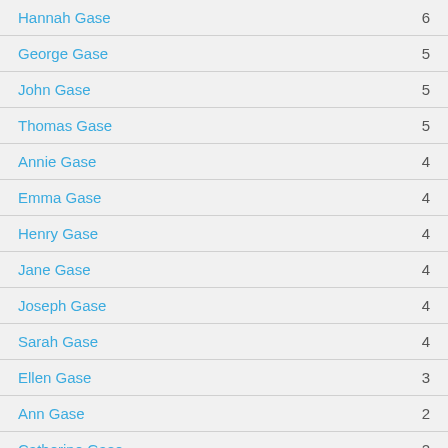Hannah Gase  6
George Gase  5
John Gase  5
Thomas Gase  5
Annie Gase  4
Emma Gase  4
Henry Gase  4
Jane Gase  4
Joseph Gase  4
Sarah Gase  4
Ellen Gase  3
Ann Gase  2
Catherine Gase  2